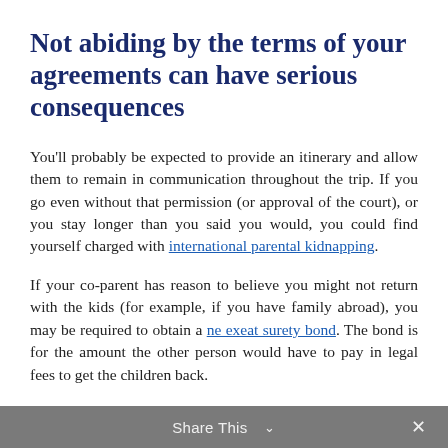Not abiding by the terms of your agreements can have serious consequences
You'll probably be expected to provide an itinerary and allow them to remain in communication throughout the trip. If you go even without that permission (or approval of the court), or you stay longer than you said you would, you could find yourself charged with international parental kidnapping.
If your co-parent has reason to believe you might not return with the kids (for example, if you have family abroad), you may be required to obtain a ne exeat surety bond. The bond is for the amount the other person would have to pay in legal fees to get the children back.
Share This ∨  ×